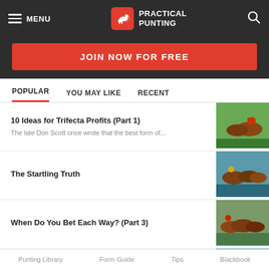MENU | PRACTICAL PUNTING
JOIN NOW FOR FREE
POPULAR  YOU MAY LIKE  RECENT
10 Ideas for Trifecta Profits (Part 1) — The late Don Scott once wrote that the best form of...
The Startling Truth
When Do You Bet Each Way? (Part 3)
Track Secrets (Part 3)
Punting Library   Form Guide   Tips   Blackbook